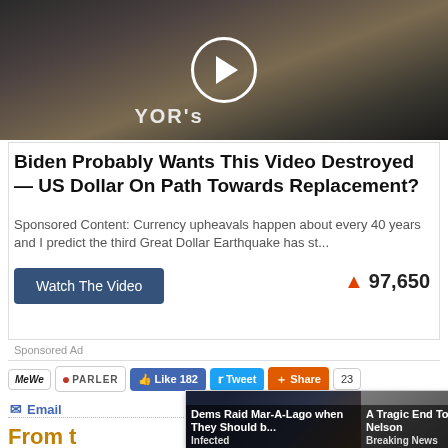[Figure (photo): Video thumbnail showing people seated at a news desk, with a play button overlay. Text 'YOR' visible in background.]
Biden Probably Wants This Video Destroyed — US Dollar On Path Towards Replacement?
Sponsored Content: Currency upheavals happen about every 40 years and I predict the third Great Dollar Earthquake has st...
Watch The Video
🔥 97,650
Sponsored Ad
MeWe  PARLER  👍 Like 182  Tweet  Share  23
Email
[Figure (photo): Popup showing two news cards: 'Dems Raid Mar-A-Lago when They Should b...' from Infected, and 'A Tragic End Today For Willie Nelson' from Breaking News]
From t
ored content  by ZergNet